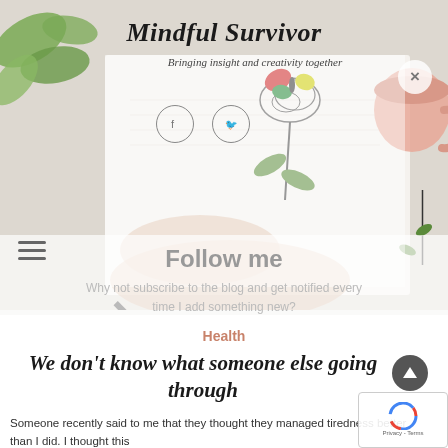Mindful Survivor
Bringing insight and creativity together
[Figure (screenshot): Blog header image showing a hand writing in a notebook with a decorative rose/butterfly illustration, green leaves in top left, and a pink coffee cup in top right]
Follow me
Why not subscribe to the blog and get notified every time I add something new?
Health
We don't know what someone else going through
Someone recently said to me that they thought they managed tiredness better than I did. I thought this